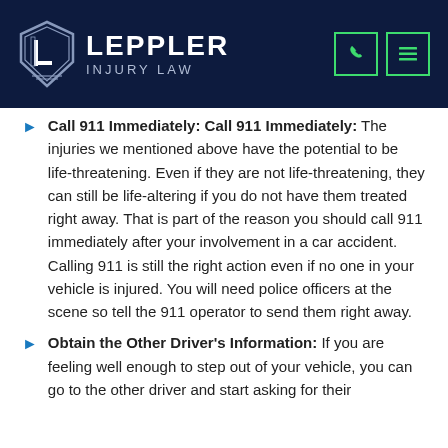[Figure (logo): Leppler Injury Law logo with shield emblem on dark navy header, with phone and menu icons]
Call 911 Immediately: The injuries we mentioned above have the potential to be life-threatening. Even if they are not life-threatening, they can still be life-altering if you do not have them treated right away. That is part of the reason you should call 911 immediately after your involvement in a car accident. Calling 911 is still the right action even if no one in your vehicle is injured. You will need police officers at the scene so tell the 911 operator to send them right away.
Obtain the Other Driver's Information: If you are feeling well enough to step out of your vehicle, you can go to the other driver and start asking for their